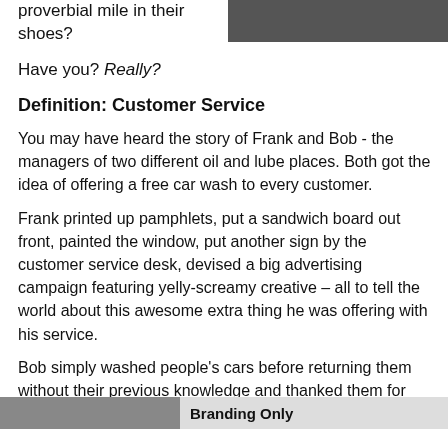proverbial mile in their shoes?
[Figure (photo): Dark photograph, partially visible at top right of page]
Have you? Really?
Definition: Customer Service
You may have heard the story of Frank and Bob - the managers of two different oil and lube places. Both got the idea of offering a free car wash to every customer.
Frank printed up pamphlets, put a sandwich board out front, painted the window, put another sign by the customer service desk, devised a big advertising campaign featuring yelly-screamy creative – all to tell the world about this awesome extra thing he was offering with his service.
Bob simply washed people's cars before returning them without their previous knowledge and thanked them for their business.
[Figure (photo): Bottom strip with image thumbnails and partial text reading Branding Only]